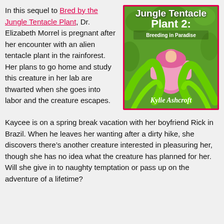In this sequel to Bred by the Jungle Tentacle Plant, Dr. Elizabeth Morrel is pregnant after her encounter with an alien tentacle plant in the rainforest. Her plans to go home and study this creature in her lab are thwarted when she goes into labor and the creature escapes.
[Figure (illustration): Book cover for 'Jungle Tentacle Plant 2: Breeding in Paradise' by Kylie Ashcroft. Pink border, green tentacles, a figure in a pink outfit, jungle background.]
Kaycee is on a spring break vacation with her boyfriend Rick in Brazil. When he leaves her wanting after a dirty hike, she discovers there’s another creature interested in pleasuring her, though she has no idea what the creature has planned for her. Will she give in to naughty temptation or pass up on the adventure of a lifetime?